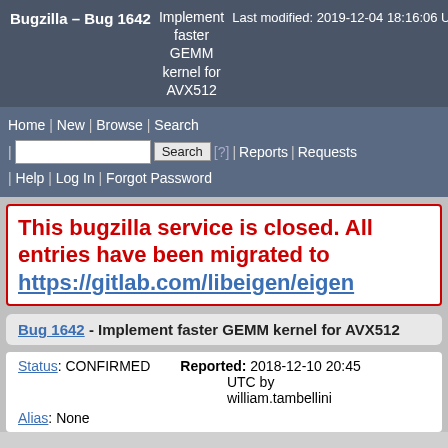Bugzilla – Bug 1642  Implement faster GEMM kernel for AVX512  Last modified: 2019-12-04 18:16:06 UTC
Home | New | Browse | Search | [search box] Search [?] | Reports | Requests | Help | Log In | Forgot Password
This bugzilla service is closed. All entries have been migrated to https://gitlab.com/libeigen/eigen
Bug 1642 - Implement faster GEMM kernel for AVX512
Status: CONFIRMED  Reported: 2018-12-10 20:45 UTC by william.tambellini
Alias: None